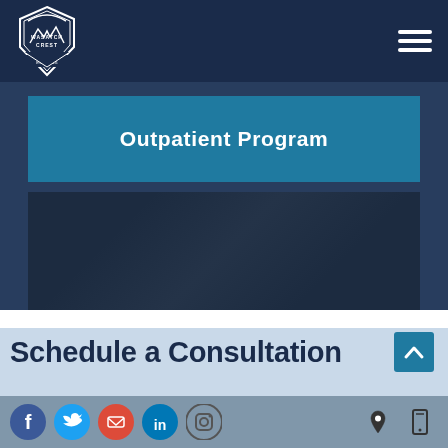[Figure (logo): Wasatch Crest logo - shield/badge shape with mountain graphic, text 'WASATCH CREST' and 'EST 2016', white on dark navy background]
[Figure (screenshot): Hamburger menu icon (three horizontal white lines) on navy background, top right corner]
Outpatient Program
[Figure (photo): Dark textured background image below the Outpatient Program button, navy/dark blue tones]
Schedule a Consultation
[Figure (infographic): Social media icons row: Facebook, Twitter, Google (red), LinkedIn, Instagram on grey-blue bar. Right side: location pin icon and mobile phone icon.]